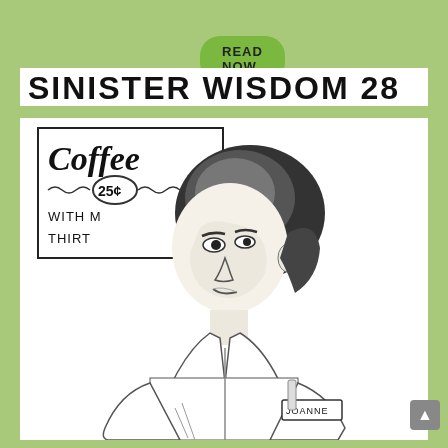READ NOW
SINISTER WISDOM 28
[Figure (illustration): Hand-drawn ink illustration of a woman (name tag reads 'JOANNE') seated, looking to the side. Behind her is a hand-lettered sign reading 'Coffee 25¢ WITH M... THIRT...' The drawing is in black and white pen/ink style, showing a waitress or diner worker.]